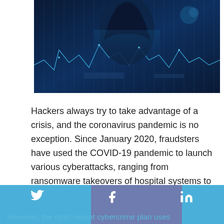[Figure (photo): Dark blue cybersecurity themed image showing a hooded figure silhouette in front of digital data visualizations and circuit-like patterns with waveforms, suggesting hacking or cybercrime]
Hackers always try to take advantage of a crisis, and the coronavirus pandemic is no exception. Since January 2020, fraudsters have used the COVID-19 pandemic to launch various cyberattacks, ranging from ransomware takeovers of hospital systems to private network hacks.
However, the most recent cybercrime plan uses